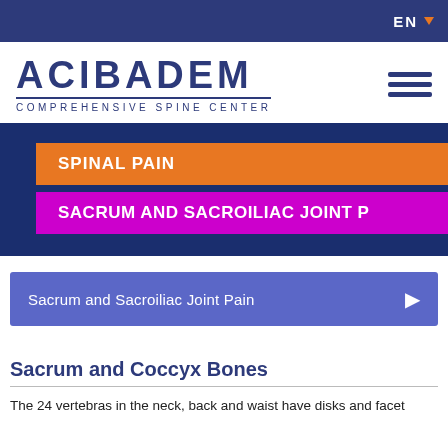EN
[Figure (logo): ACIBADEM COMPREHENSIVE SPINE CENTER logo]
SPINAL PAIN
SACRUM AND SACROILIAC JOINT P
Sacrum and Sacroiliac Joint Pain
Sacrum and Coccyx Bones
The 24 vertebras in the neck, back and waist have disks and facet